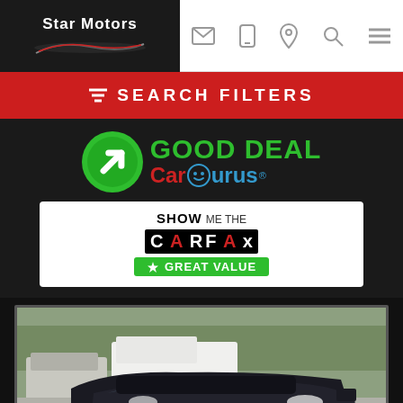Star Motors
SEARCH FILTERS
[Figure (logo): Good Deal CarGurus logo with green arrow circle and CarGurus wordmark]
[Figure (logo): Show Me The CARFAX - Great Value badge]
[Figure (photo): Dark colored Mazda SUV/CX vehicle in a parking lot with other vehicles in background]